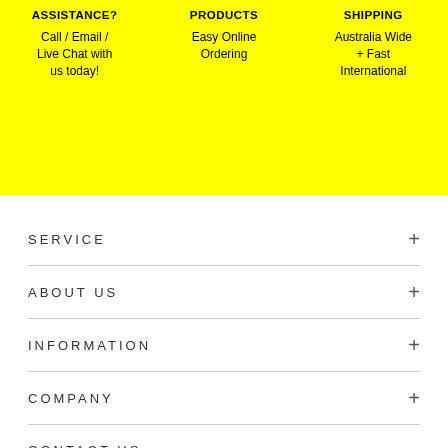ASSISTANCE? Call / Email / Live Chat with us today!
PRODUCTS Easy Online Ordering
SHIPPING Australia Wide + Fast International
SERVICE
ABOUT US
INFORMATION
COMPANY
CONTACT US
1300 454 193
info@strikeseats.com.au